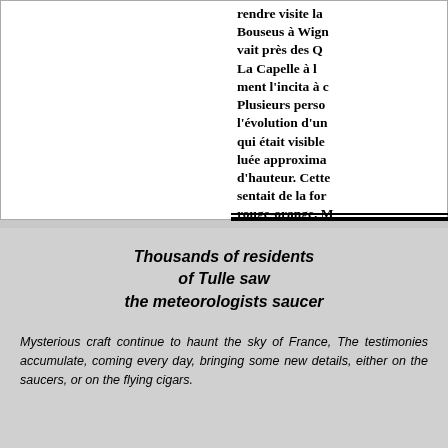[Figure (other): Scanned newspaper clipping in French, partially visible, with bold serif text describing a UFO sighting near La Capelle and surrounding areas. Text is cut off on the right.]
Thousands of residents of Tulle saw the meteorologists saucer
Mysterious craft continue to haunt the sky of France, The testimonies accumulate, coming every day, bringing some new details, either on the saucers, or on the flying cigars.